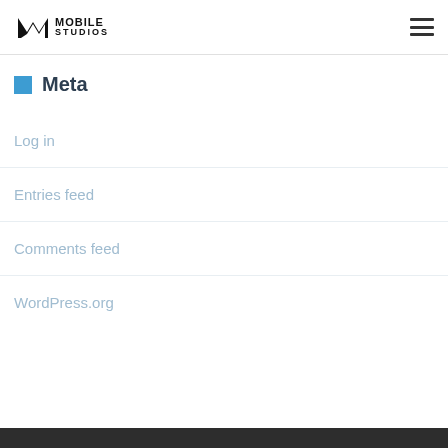Mobile Studios logo and navigation menu
Meta
Log in
Entries feed
Comments feed
WordPress.org